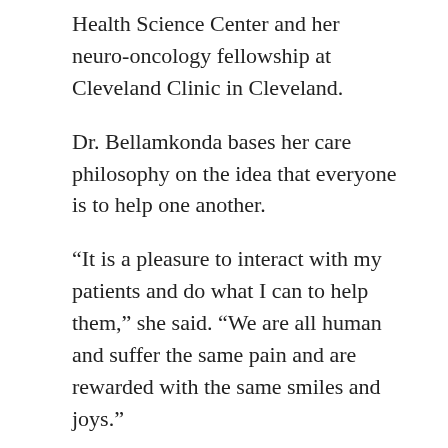Health Science Center and her neuro-oncology fellowship at Cleveland Clinic in Cleveland.
Dr. Bellamkonda bases her care philosophy on the idea that everyone is to help one another.
“It is a pleasure to interact with my patients and do what I can to help them,” she said. “We are all human and suffer the same pain and are rewarded with the same smiles and joys.”
Visit Dr. Bellamkonda’s profile page for more information.
Dr. Rank is an anesthesiologist at Regional One Health and an assistant professor at University of Tennessee Health Science Center. He received